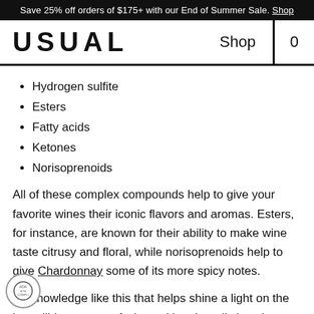Save 25% off orders of $175+ with our End of Summer Sale. Shop
USUAL   Shop   0
Hydrogen sulfite
Esters
Fatty acids
Ketones
Norisoprenoids
All of these complex compounds help to give your favorite wines their iconic flavors and aromas. Esters, for instance, are known for their ability to make wine taste citrusy and floral, while norisoprenoids help to give Chardonnay some of its more spicy notes.
It's knowledge like this that helps shine a light on the incredible process of winemaking. It really is quite complicated chemistry. These methods have been